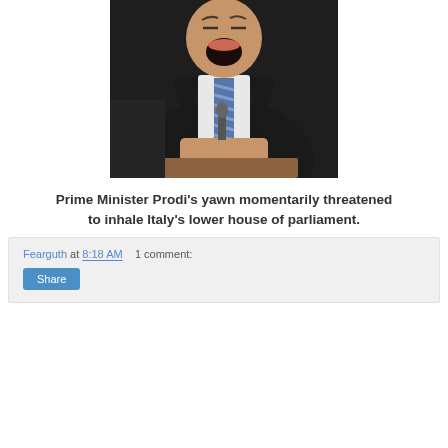[Figure (photo): A man in a dark suit with a striped tie, mouth wide open as if yawning, seated at what appears to be a legislative chamber desk, holding something in his hands.]
Prime Minister Prodi's yawn momentarily threatened to inhale Italy's lower house of parliament.
Fearguth at 8:18 AM    1 comment:
Share